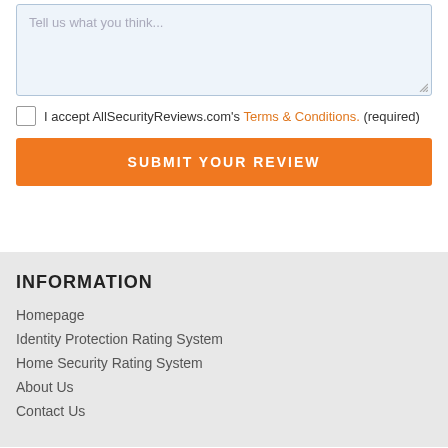Tell us what you think...
I accept AllSecurityReviews.com's Terms & Conditions. (required)
SUBMIT YOUR REVIEW
INFORMATION
Homepage
Identity Protection Rating System
Home Security Rating System
About Us
Contact Us